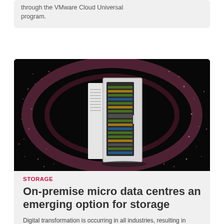through the VMware Cloud Universal program.
[Figure (photo): A server rack / data centre cabinet photographed against a dark black background with pink and white circular light trail patterns surrounding it.]
STORAGE
On-premise micro data centres an emerging option for storage
Digital transformation is occurring in all industries, resulting in unprecedented amounts of data. Explore the option of storing your